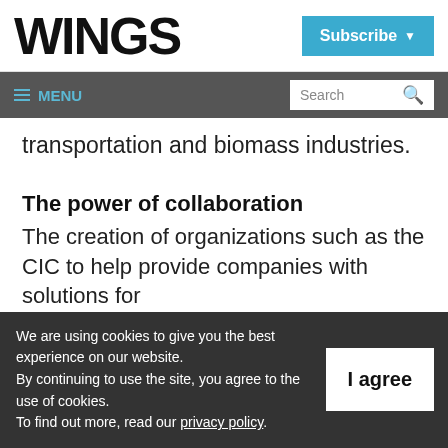WINGS
Subscribe
≡ MENU   Search
transportation and biomass industries.
The power of collaboration
The creation of organizations such as the CIC to help provide companies with solutions for the development of clean energy with
We are using cookies to give you the best experience on our website. By continuing to use the site, you agree to the use of cookies. To find out more, read our privacy policy.
I agree